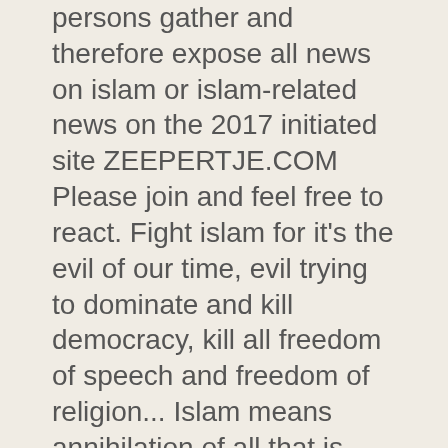persons gather and therefore expose all news on islam or islam-related news on the 2017 initiated site ZEEPERTJE.COM Please join and feel free to react. Fight islam for it's the evil of our time, evil trying to dominate and kill democracy, kill all freedom of speech and freedom of religion... Islam means annihilation of all that is non-islamic, AND the proces of islamization is, together with the promotion of the leftist "progressive" behaviour (like transgender /multiculti /mass-migration /interrace-marriage promotion and therefore